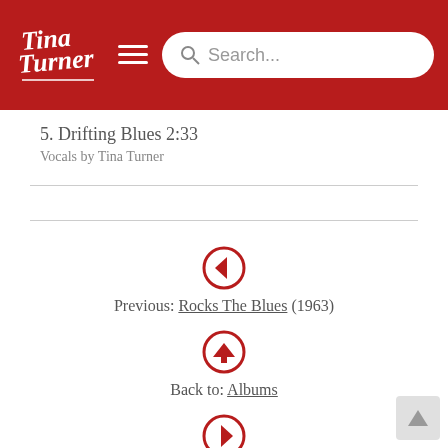Tina Turner — Search navigation header
5. Drifting Blues 2:33
Vocals by Tina Turner
Previous: Rocks The Blues (1963)
Back to: Albums
Next: Blues Roots (1972)